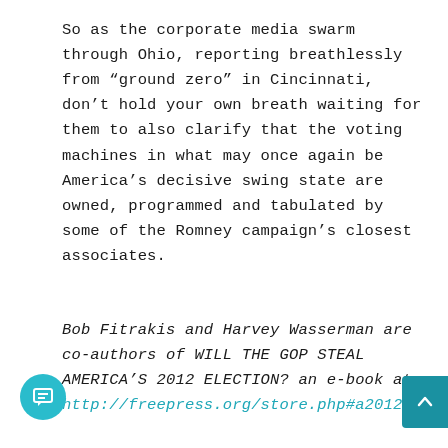So as the corporate media swarm through Ohio, reporting breathlessly from “ground zero” in Cincinnati, don’t hold your own breath waiting for them to also clarify that the voting machines in what may once again be America’s decisive swing state are owned, programmed and tabulated by some of the Romney campaign’s closest associates.
Bob Fitrakis and Harvey Wasserman are co-authors of WILL THE GOP STEAL AMERICA’S 2012 ELECTION? an e-book at http://freepress.org/store.php#a2012.